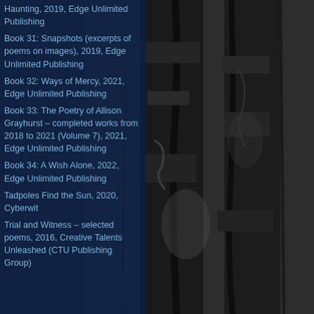[Figure (photo): Black and white close-up photograph of tree bark with deep crevices and peeling texture, serving as background.]
Haunting, 2019, Edge Unlimited Publishing
Book 31: Snapshots (excerpts of poems on images), 2019, Edge Unlimited Publishing
Book 32: Ways of Mercy, 2021, Edge Unlimited Publishing
Book 33: The Poetry of Allison Grayhurst – completed works from 2018 to 2021 (Volume 7), 2021, Edge Unlimited Publishing
Book 34: A Wish Alone, 2022, Edge Unlimited Publishing
Tadpoles Find the Sun, 2020, Cyberwit
Trial and Witness – selected poems, 2016, Creative Talents Unleashed (CTU Publishing Group)